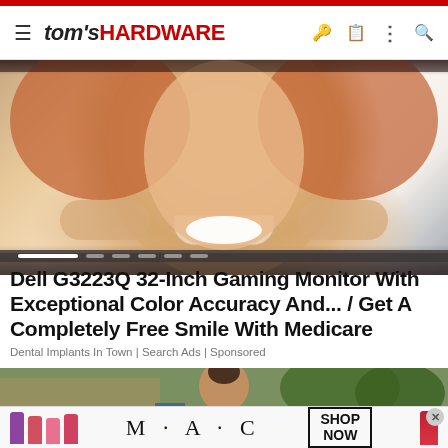tom's HARDWARE
[Figure (photo): Close-up photo of a smiling person with red hair holding their face with both hands, showing bright white teeth]
[Figure (infographic): Slider navigation dots bar]
Dell G3223Q 32-Inch Gaming Monitor With Exceptional Color Accuracy And... / Get A Completely Free Smile With Medicare
Dental Implants In Town | Search Ads | Sponsored
[Figure (photo): Woman with dark hair in bun standing outdoors with trees in background]
[Figure (photo): M·A·C cosmetics advertisement showing lipstick products with SHOP NOW button]